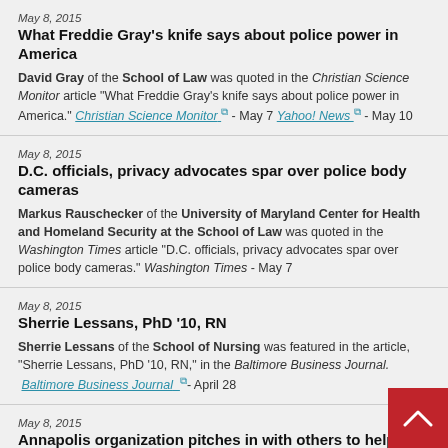May 8, 2015
What Freddie Gray's knife says about police power in America
David Gray of the School of Law was quoted in the Christian Science Monitor article "What Freddie Gray's knife says about police power in America." Christian Science Monitor - May 7  Yahoo! News - May 10
May 8, 2015
D.C. officials, privacy advocates spar over police body cameras
Markus Rauschecker of the University of Maryland Center for Health and Homeland Security at the School of Law was quoted in the Washington Times article "D.C. officials, privacy advocates spar over police body cameras." Washington Times - May 7
May 8, 2015
Sherrie Lessans, PhD '10, RN
Sherrie Lessans of the School of Nursing was featured in the article, "Sherrie Lessans, PhD '10, RN," in the Baltimore Business Journal. Baltimore Business Journal - April 28
May 8, 2015
Annapolis organization pitches in with others to help